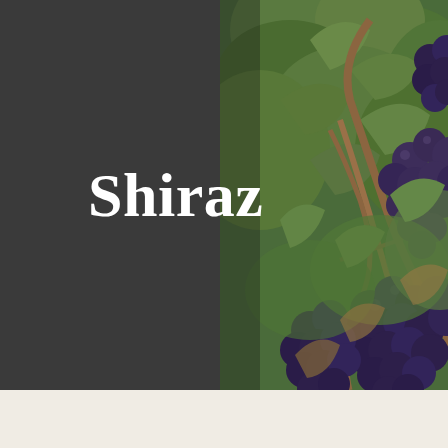[Figure (photo): A photograph of dark purple/blue Shiraz grape clusters hanging on a vine with green and brown leaves. The left half of the image is covered by a dark charcoal gray overlay panel. The word 'Shiraz' is overlaid in large white serif bold text centered across the dividing line between the dark overlay and the grape photo. The bottom strip of the page is an off-white/cream color.]
Shiraz